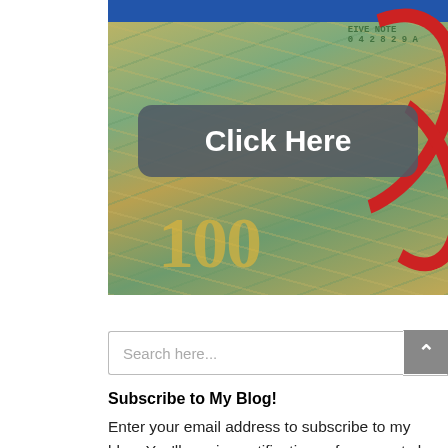[Figure (photo): Photo of US dollar bills with a red stethoscope on top, with a dark rounded button overlay reading 'Click Here' in white bold text. Blue strip at top of image.]
Search here...
Subscribe to My Blog!
Enter your email address to subscribe to my blog. You'll receive notifications of new posts by email.